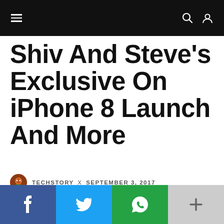≡  🔍 👤
Shiv And Steve's Exclusive On iPhone 8 Launch And More
TECHSTORY x SEPTEMBER 3, 2017
STORIES IN PICTURES
f  t  ⊕  +